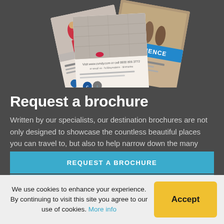[Figure (photo): Travel brochures fanned out, showing destination images including a person in a red outfit and a blue banner saying EXPERIENCE]
Request a brochure
Written by our specialists, our destination brochures are not only designed to showcase the countless beautiful places you can travel to, but also to help narrow down the many choices you're faced with when planning a trip.
REQUEST A BROCHURE
We use cookies to enhance your experience. By continuing to visit this site you agree to our use of cookies. More info